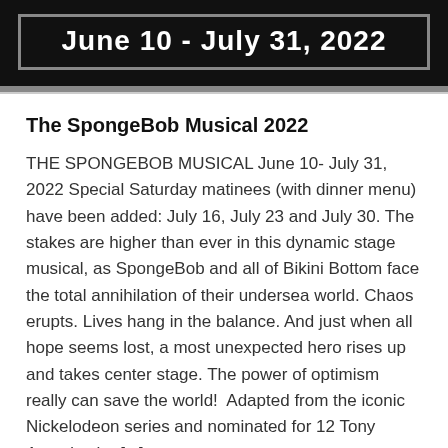June 10 - July 31, 2022
The SpongeBob Musical 2022
THE SPONGEBOB MUSICAL June 10- July 31, 2022 Special Saturday matinees (with dinner menu) have been added: July 16, July 23 and July 30. The stakes are higher than ever in this dynamic stage musical, as SpongeBob and all of Bikini Bottom face the total annihilation of their undersea world. Chaos erupts. Lives hang in the balance. And just when all hope seems lost, a most unexpected hero rises up and takes center stage. The power of optimism really can save the world!  Adapted from the iconic Nickelodeon series and nominated for 12 Tony Awards, the [...]